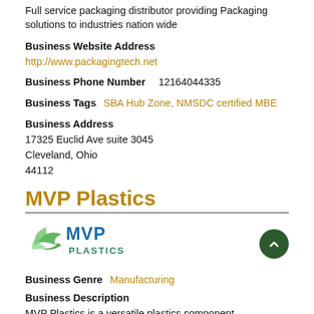Full service packaging distributor providing Packaging solutions to industries nation wide
Business Website Address
http://www.packagingtech.net
Business Phone Number  12164044335
Business Tags  SBA Hub Zone, NMSDC certified MBE
Business Address
17325 Euclid Ave suite 3045
Cleveland, Ohio
44112
MVP Plastics
[Figure (logo): MVP Plastics logo with green swoosh and blue/green text]
Business Genre  Manufacturing
Business Description
MVP Plastics is a versatile plastics component